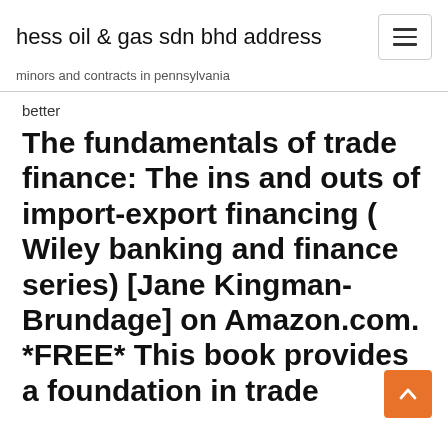hess oil & gas sdn bhd address
minors and contracts in pennsylvania
better
The fundamentals of trade finance: The ins and outs of import-export financing ( Wiley banking and finance series) [Jane Kingman-Brundage] on Amazon.com. *FREE* This book provides a foundation in trade